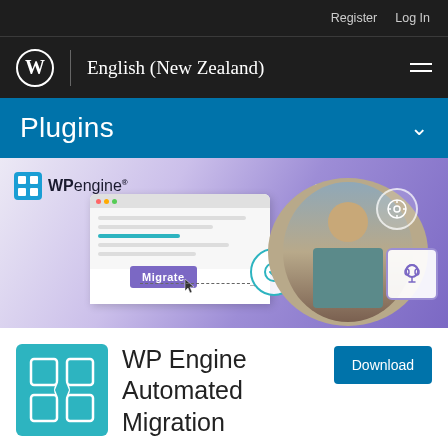Register   Log In
WordPress | English (New Zealand)
Plugins
[Figure (screenshot): WP Engine promotional banner showing a person using a laptop with UI elements depicting a migration workflow, with icons for security and support]
[Figure (logo): WP Engine Automated Migration plugin icon - teal/cyan square with white grid pattern]
WP Engine Automated Migration
Download